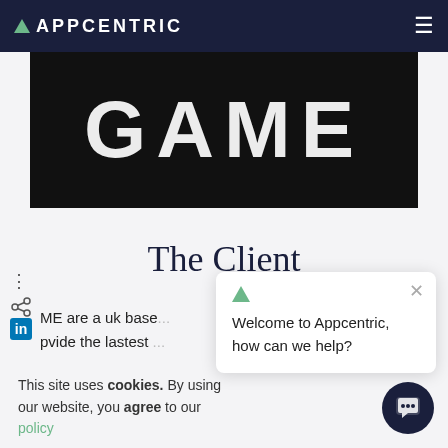APPCENTRIC
[Figure (logo): GAME logo text in white on a black background banner]
The Client
ME are a uk base... pvide the lastest...
This site uses cookies. By using our website, you agree to our policy
[Figure (screenshot): Welcome to Appcentric chat popup with close button and Appcentric logo triangle]